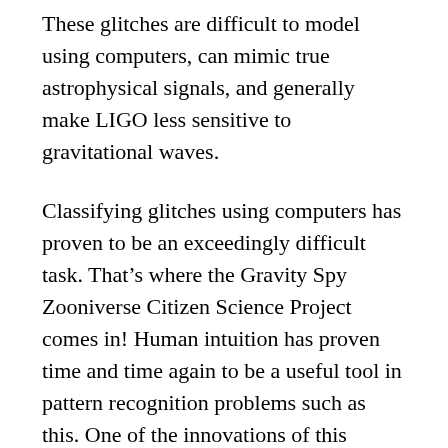These glitches are difficult to model using computers, can mimic true astrophysical signals, and generally make LIGO less sensitive to gravitational waves.
Classifying glitches using computers has proven to be an exceedingly difficult task. That’s where the Gravity Spy Zooniverse Citizen Science Project comes in! Human intuition has proven time and time again to be a useful tool in pattern recognition problems such as this. One of the innovations of this project is that citizen scientists and computer algorithms will work in a symbiotic relationship, helping one another to optimally classify and characterize glitches. By selecting the right classification for a given glitch,